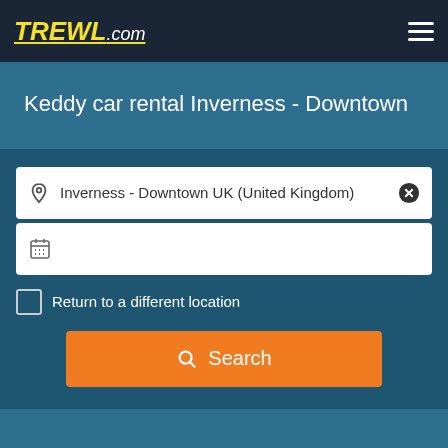TREWL.com
Keddy car rental Inverness - Downtown
[Figure (screenshot): Search form with location input showing 'Inverness - Downtown UK (United Kingdom)', calendar icon input, checkbox for 'Return to a different location', and orange Search button]
Keddy car rental near Inverness - Downtown